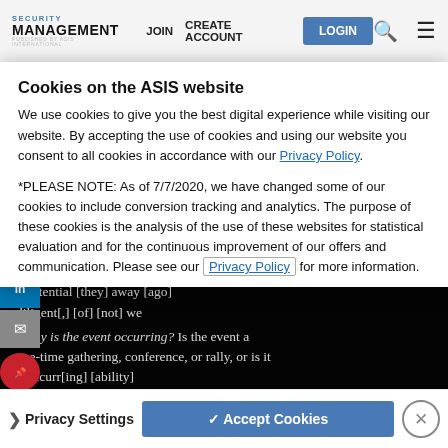SECURITY MANAGEMENT | JOIN | CREATE ACCOUNT | LOGIN
the potential threats as well. Who owns and operates the venue? Are they a potential target? Who are their neighbors, what is co-located or nearby that may be of concern? Who [individuals that may attempt]
Republican National Convention in Cleveland was considered to have a higher [potential] due [diligent] [of] [to]
*Why is the event occurring? Is the event a one-time gathering, conference, or rally, or is it reoccurring? The [ability]
Cookies on the ASIS website
We use cookies to give you the best digital experience while visiting our website. By accepting the use of cookies and using our website you consent to all cookies in accordance with our Privacy Policy.
*PLEASE NOTE: As of 7/7/2020, we have changed some of our cookies to include conversion tracking and analytics. The purpose of these cookies is the analysis of the use of these websites for statistical evaluation and for the continuous improvement of our offers and communication. Please see our Privacy Policy for more information.
Privacy Settings | ✓ Accept Cookies | ✕